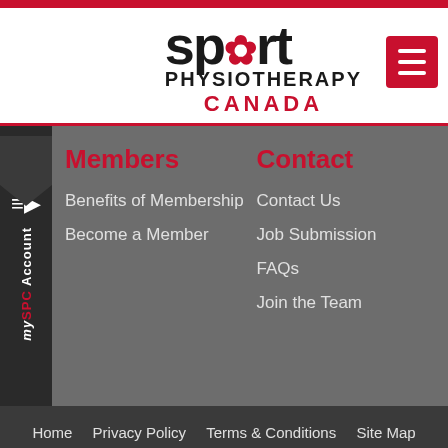[Figure (logo): Sport Physiotherapy Canada logo with red maple leaf and hamburger menu icon]
Members
Benefits of Membership
Become a Member
Contact
Contact Us
Job Submission
FAQs
Join the Team
Home   Privacy Policy   Terms & Conditions   Site Map
© Copyright 2015